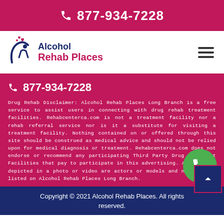877-934-7228
[Figure (logo): Alcohol Rehab Places logo with stylized person and hearts icon, text reading Alcohol Rehab Places]
877-934-7228
Drug Rehab Disclaimer: Alcohol Rehab Places Long Branch is a free service to assist users in connecting with drug rehab treatment facilities. Rehabcenterca.com is not a treatment facility nor a rehab referral service nor is it a substitute for visiting a treatment facility. Nothing contained on or offered through this site should be construed as medical advice and should not be relied upon for medical diagnosis or treatment. Rehabcenterca.com does not endorse or recommend any participating Third Party Drug Treatment Facilities that pay to participate in this advertising. All persons depicted in a photo or video are actors or models and not doctors listed on Alcohol Rehab Places Long Branch.
Copyright © 2021 Alcohol Rehab Places. All rights reserved.